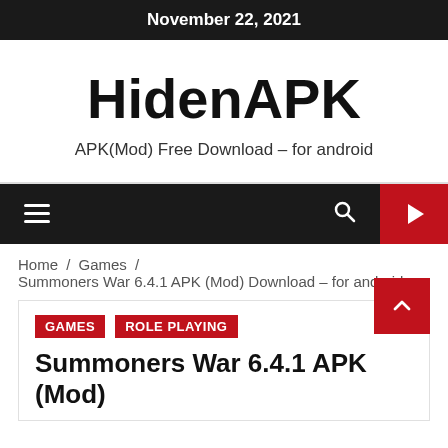November 22, 2021
HidenAPK
APK(Mod) Free Download – for android
≡  🔍  ▶
Home / Games / Summoners War 6.4.1 APK (Mod) Download – for android
GAMES  ROLE PLAYING
Summoners War 6.4.1 APK (Mod)